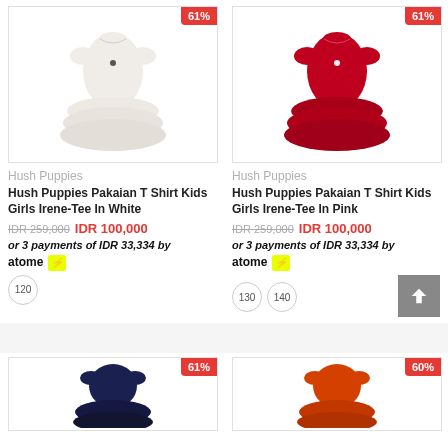[Figure (photo): White ruffle t-shirt dress for girls with 61% discount badge]
[Figure (photo): Red/pink ruffle t-shirt dress for girls with 61% discount badge]
Hush Puppies
Hush Puppies Pakaian T Shirt Kids Girls Irene-Tee In White
IDR 259,000  IDR 100,000
or 3 payments of IDR 33,334 by atome
120
Hush Puppies
Hush Puppies Pakaian T Shirt Kids Girls Irene-Tee In Pink
IDR 259,000  IDR 100,000
or 3 payments of IDR 33,334 by atome
130  140
[Figure (photo): Navy ruffle t-shirt dress for girls with 61% discount badge]
[Figure (photo): Orange/red ruffle t-shirt dress for girls with 60% discount badge]